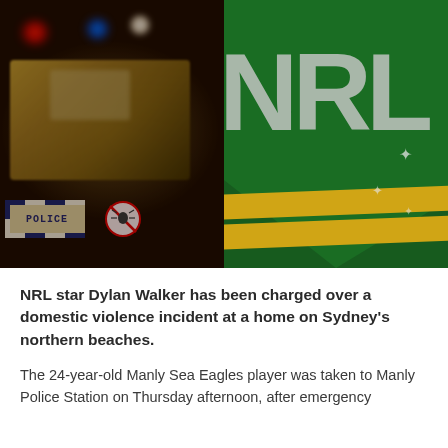[Figure (photo): Composite image: left side shows a blurred Australian police car at night with red and blue flashing lights and a checkered 'POLICE' sign visible; right side shows a close-up of the NRL (National Rugby League) logo — green shield with 'NRL' text and yellow chevrons with stars.]
NRL star Dylan Walker has been charged over a domestic violence incident at a home on Sydney's northern beaches.
The 24-year-old Manly Sea Eagles player was taken to Manly Police Station on Thursday afternoon, after emergency